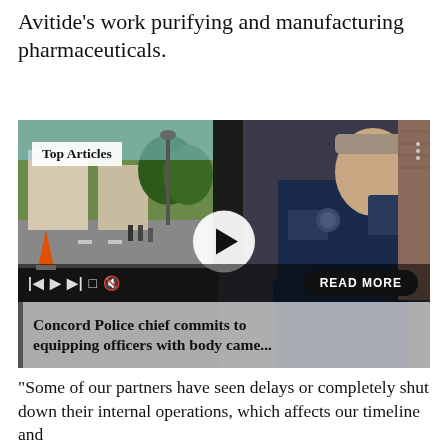Avitide's work purifying and manufacturing pharmaceuticals.
[Figure (screenshot): Video player showing a police officer in uniform with 'Top Articles' badge, play button overlay, media controls bar with 'READ MORE' button, and caption 'Concord Police chief commits to equipping officers with body came...']
“Some of our partners have seen delays or completely shut down their internal operations, which affects our timeline and